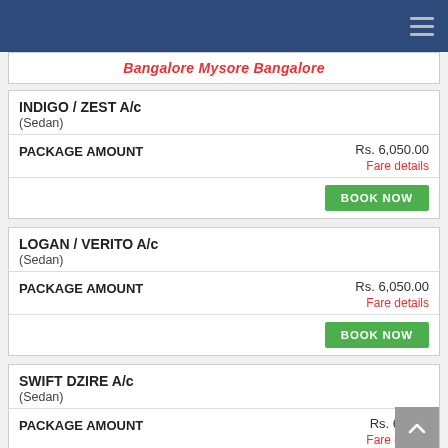Bangalore Mysore Bangalore
INDIGO / ZEST A/c
(Sedan)
PACKAGE AMOUNT    Rs. 6,050.00
Fare details
BOOK NOW
LOGAN / VERITO A/c
(Sedan)
PACKAGE AMOUNT    Rs. 6,050.00
Fare details
BOOK NOW
SWIFT DZIRE A/c
(Sedan)
PACKAGE AMOUNT    Rs. 6,050.
Fare details